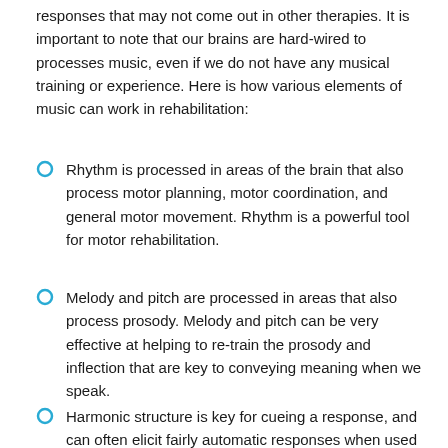responses that may not come out in other therapies. It is important to note that our brains are hard-wired to processes music, even if we do not have any musical training or experience. Here is how various elements of music can work in rehabilitation:
Rhythm is processed in areas of the brain that also process motor planning, motor coordination, and general motor movement. Rhythm is a powerful tool for motor rehabilitation.
Melody and pitch are processed in areas that also process prosody. Melody and pitch can be very effective at helping to re-train the prosody and inflection that are key to conveying meaning when we speak.
Harmonic structure is key for cueing a response, and can often elicit fairly automatic responses when used in the